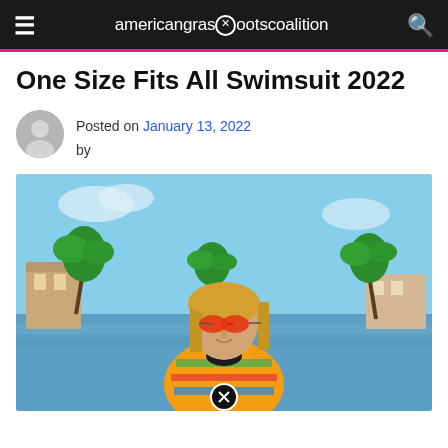americangrasrootscoalition
One Size Fits All Swimsuit 2022
Posted on January 13, 2022 by
[Figure (photo): A smiling blonde woman wearing red aviator sunglasses and a colorful tropical print swimsuit/top, standing outdoors near a waterway with palm trees and buildings in the background.]